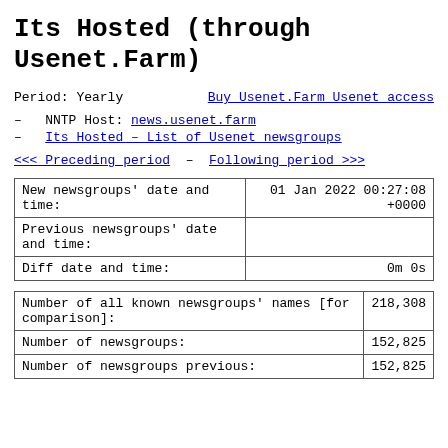Its Hosted (through Usenet.Farm)
Period: Yearly   Buy Usenet.Farm Usenet access
– NNTP Host: news.usenet.farm
– Its Hosted – List of Usenet newsgroups
<<< Preceding period – Following period >>>
| Field | Value |
| --- | --- |
| New newsgroups' date and time: | 01 Jan 2022 00:27:08 +0000 |
| Previous newsgroups' date and time: |  |
| Diff date and time: | 0m 0s |
| Field | Value |
| --- | --- |
| Number of all known newsgroups' names [for comparison]: | 218,308 |
| Number of newsgroups: | 152,825 |
| Number of newsgroups previous: | 152,825 |